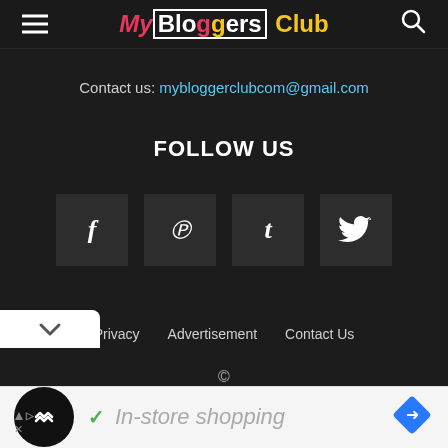MyBloggersClub
Contact us: mybloggerclubcom@gmail.com
FOLLOW US
[Figure (infographic): Four social media icon buttons: Facebook (f), Pinterest (p), Tumblr (t), Twitter bird icon]
Privacy   Advertisement   Contact Us   ©
[Figure (infographic): Advertisement banner: circular logo with arrows, checkmark, 'In-store shopping' text, blue diamond navigation icon, and ad disclosure icons]